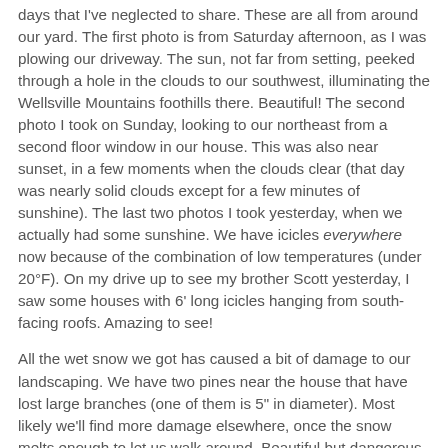days that I've neglected to share.  These are all from around our yard.  The first photo is from Saturday afternoon, as I was plowing our driveway.  The sun, not far from setting, peeked through a hole in the clouds to our southwest, illuminating the Wellsville Mountains foothills there.  Beautiful!  The second photo I took on Sunday, looking to our northeast from a second floor window in our house.  This was also near sunset, in a few moments when the clouds clear (that day was nearly solid clouds except for a few minutes of sunshine).  The last two photos I took yesterday, when we actually had some sunshine.  We have icicles everywhere now because of the combination of low temperatures (under 20°F).  On my drive up to see my brother Scott yesterday, I saw some houses with 6' long icicles hanging from south-facing roofs.  Amazing to see!
All the wet snow we got has caused a bit of damage to our landscaping.  We have two pines near the house that have lost large branches (one of them is 5" in diameter).  Most likely we'll find more damage elsewhere, once the snow melts enough to let us walk around.  Beautiful but dangerous, that snow is...